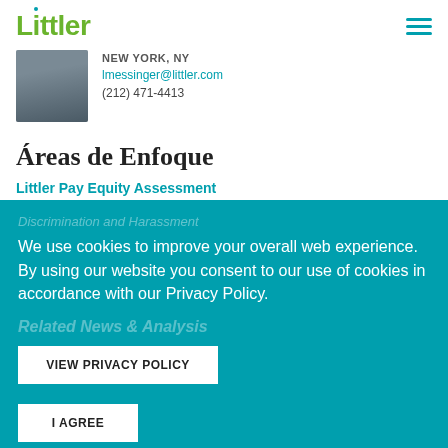Littler
NEW YORK, NY
lmessinger@littler.com
(212) 471-4413
Áreas de Enfoque
Littler Pay Equity Assessment
Discrimination and Harassment
We use cookies to improve your overall web experience. By using our website you consent to our use of cookies in accordance with our Privacy Policy.
Related News & Analysis
VIEW PRIVACY POLICY
I AGREE
Bill That Requires Identifying Your Maximum Potential Salaries on Virtually All Tax...